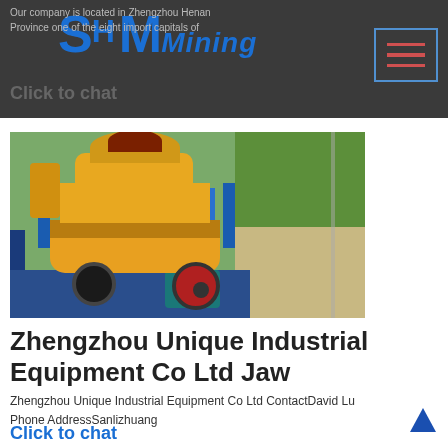Our company is located in Zhengzhou Henan Province one of the eight import capitals of
Click to chat
[Figure (photo): Yellow cone crusher machine mounted on a blue truck bed, with hydraulic components, wheels visible, grass and road in background]
Zhengzhou Unique Industrial Equipment Co Ltd Jaw
Zhengzhou Unique Industrial Equipment Co Ltd ContactDavid Lu Phone AddressSanlizhuang
Click to chat